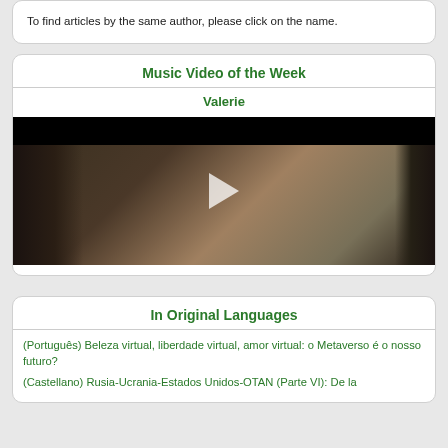To find articles by the same author, please click on the name.
Music Video of the Week
Valerie
[Figure (screenshot): Video thumbnail showing a music video scene with a smiling young man in center, a masked figure on the left holding an instrument, and a partial figure on the right, with a play button overlay.]
In Original Languages
(Português) Beleza virtual, liberdade virtual, amor virtual: o Metaverso é o nosso futuro?
(Castellano) Rusia-Ucrania-Estados Unidos-OTAN (Parte VI): De la